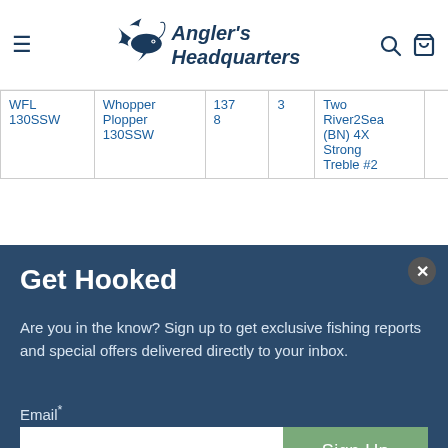[Figure (logo): Angler's Headquarters logo with fish illustration and italic bold text]
| WFL 130SSW | Whopper Plopper 130SSW | 137 8 | 3 | Two River2Sea (BN) 4X Strong Treble #2 |
Get Hooked
Are you in the know? Sign up to get exclusive fishing reports and special offers delivered directly to your inbox.
Email*
Sign Up